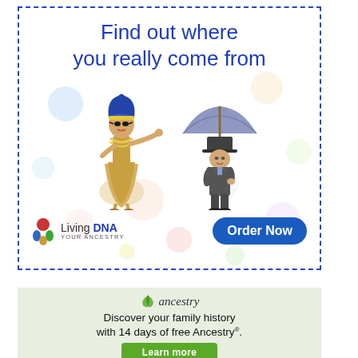[Figure (infographic): Living DNA advertisement with dashed blue border. Headline 'Find out where you really come from' in blue. Illustrated figures of Cleopatra and a Victorian gentleman with umbrella. Decorative pastel circles. Living DNA logo and 'Order Now' button.]
[Figure (infographic): Ancestry.com advertisement on light green background. Ancestry leaf logo. Text 'Discover your family history with 14 days of free Ancestry®.' Green 'Learn more' button. Bottom portions of two people visible.]